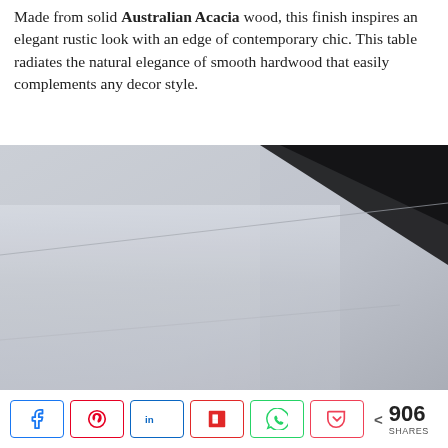Made from solid Australian Acacia wood, this finish inspires an elegant rustic look with an edge of contemporary chic. This table radiates the natural elegance of smooth hardwood that easily complements any decor style.
[Figure (photo): Close-up photograph of a smooth light gray/white table surface showing a seam or joint line, with dark background in the upper right corner.]
< 906 SHARES (social share bar with Facebook, Pinterest, LinkedIn, Flipboard, WhatsApp, and Pocket buttons)